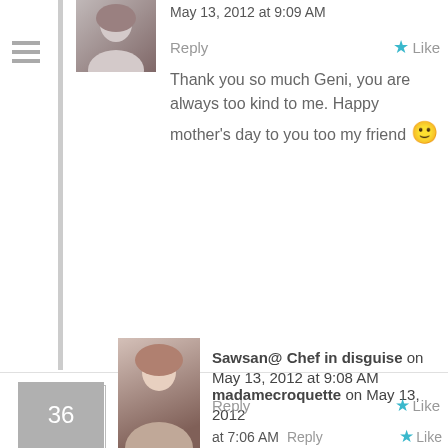[Figure (screenshot): Blog comment section showing three comments. Top comment is a reply dated May 13, 2012 at 9:09 AM with text 'Thank you so much Geni, you are always too kind to me. Happy mother's day to you too my friend 🙂'. Comment 35 by madamecroquette on May 13, 2012 at 7:06 AM saying 'You photographs are stunning! Do you use natural light or artificial ? Looks greats!'. Comment 36 by Sawsan@ Chef in disguise on May 13, 2012 at 9:08 AM partially visible at bottom.]